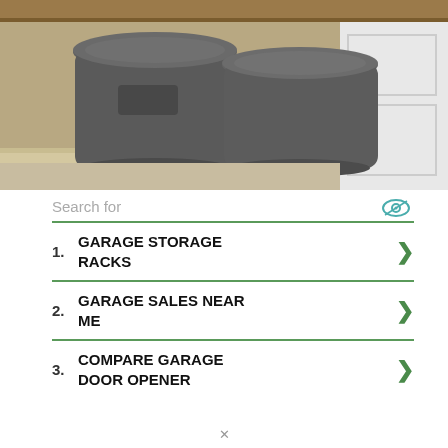[Figure (photo): Two large grey plastic trash/garbage cans stored under a wooden shelf in a garage, next to a white door.]
Search for
1. GARAGE STORAGE RACKS
2. GARAGE SALES NEAR ME
3. COMPARE GARAGE DOOR OPENER